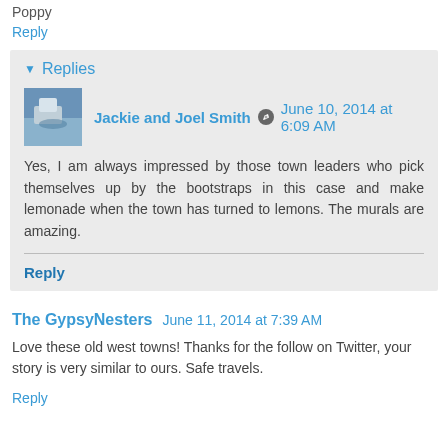Poppy
Reply
Replies
Jackie and Joel Smith   June 10, 2014 at 6:09 AM
Yes, I am always impressed by those town leaders who pick themselves up by the bootstraps in this case and make lemonade when the town has turned to lemons. The murals are amazing.
Reply
The GypsyNesters   June 11, 2014 at 7:39 AM
Love these old west towns! Thanks for the follow on Twitter, your story is very similar to ours. Safe travels.
Reply